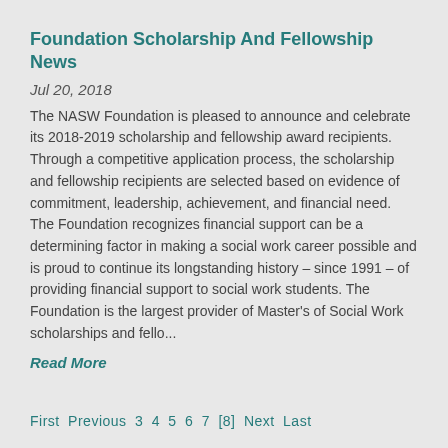Foundation Scholarship And Fellowship News
Jul 20, 2018
The NASW Foundation is pleased to announce and celebrate its 2018-2019 scholarship and fellowship award recipients. Through a competitive application process, the scholarship and fellowship recipients are selected based on evidence of commitment, leadership, achievement, and financial need. The Foundation recognizes financial support can be a determining factor in making a social work career possible and is proud to continue its longstanding history – since 1991 – of providing financial support to social work students.    The Foundation is the largest provider of Master's of Social Work scholarships and fello...
Read More
First  Previous  3  4  5  6  7  [8]  Next  Last